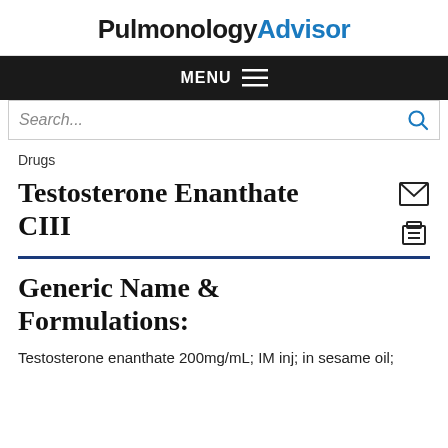PulmonologyAdvisor
MENU
Search...
Drugs
Testosterone Enanthate CIII
Generic Name & Formulations:
Testosterone enanthate 200mg/mL; IM inj; in sesame oil;